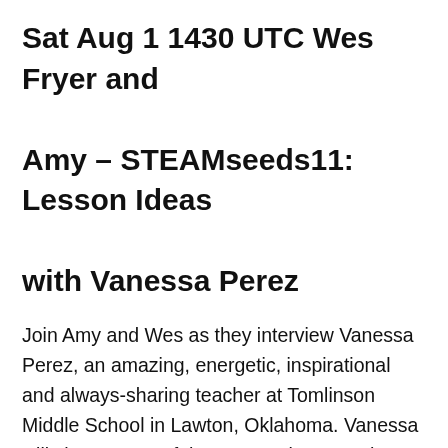Sat Aug 1 1430 UTC Wes Fryer and Amy – STEAMseeds11: Lesson Ideas with Vanessa Perez
Join Amy and Wes as they interview Vanessa Perez, an amazing, energetic, inspirational and always-sharing teacher at Tomlinson Middle School in Lawton, Oklahoma. Vanessa will share some of the STEAM lessons she's done with students in the past as well as lessons she's planning for the upcoming school year. She'll also discuss her strategies for success writing small grants for classroom supplies and furniture, as well as share about her innovative classroom space designs. Vanessa recently